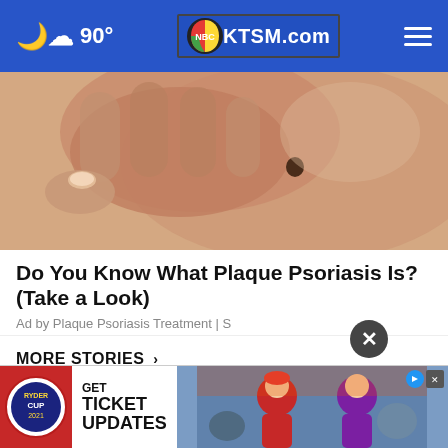☁ 90° | KTSM.com
[Figure (photo): Close-up photo of a hand touching skin with a mole/dark spot, illustrating plaque psoriasis content]
Do You Know What Plaque Psoriasis Is? (Take a Look)
Ad by Plaque Psoriasis Treatment | S
MORE STORIES ›
[Figure (photo): Fire department logo thumbnail for news story]
Combined rescue team responds to
[Figure (photo): Ryder Cup advertisement banner with GET TICKET UPDATES text and golf players photo]